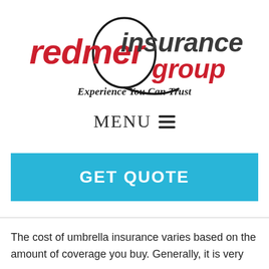[Figure (logo): Redmer Insurance Group logo with circular swoosh graphic, 'redmer' in red bold italic, 'insurance group' in dark gray, and tagline 'Experience You Can Trust' in black italic below]
MENU ☰
GET QUOTE
The cost of umbrella insurance varies based on the amount of coverage you buy. Generally, it is very